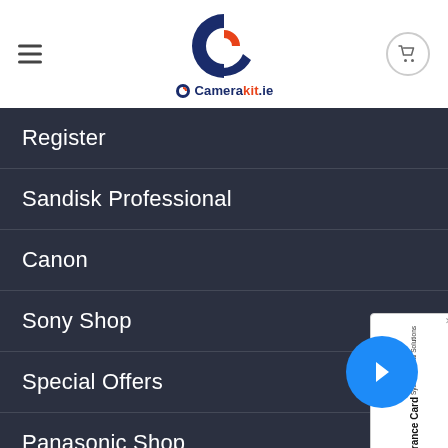[Figure (logo): Camerakit.ie logo — a circular C shape in dark blue with an orange/red inner element, and the text Camerakit.ie below]
Register
Sandisk Professional
Canon
Sony Shop
Special Offers
Panasonic Shop
[Figure (other): Sysnet Global Solutions Assurance Card advertisement panel with an orange arrow button]
[Figure (other): Blue circular button on bottom right]